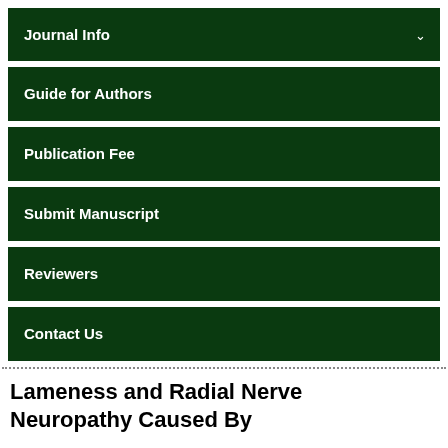Journal Info
Guide for Authors
Publication Fee
Submit Manuscript
Reviewers
Contact Us
Lameness and Radial Nerve Neuropathy Caused By